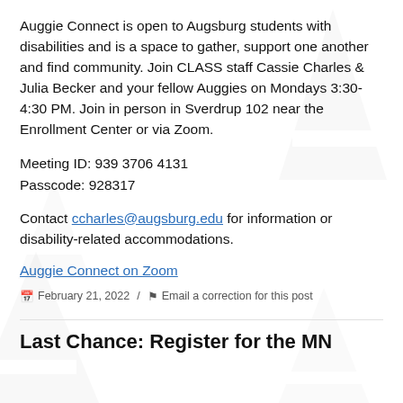Auggie Connect is open to Augsburg students with disabilities and is a space to gather, support one another and find community. Join CLASS staff Cassie Charles & Julia Becker and your fellow Auggies on Mondays 3:30-4:30 PM. Join in person in Sverdrup 102 near the Enrollment Center or via Zoom.
Meeting ID: 939 3706 4131
Passcode: 928317
Contact ccharles@augsburg.edu for information or disability-related accommodations.
Auggie Connect on Zoom
February 21, 2022 / Email a correction for this post
Last Chance: Register for the MN